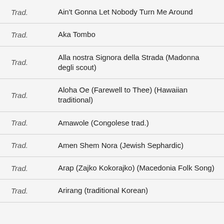| Composer | Title |
| --- | --- |
| Trad. | Ain't Gonna Let Nobody Turn Me Around |
| Trad. | Aka Tombo |
| Trad. | Alla nostra Signora della Strada (Madonna degli scout) |
| Trad. | Aloha Oe (Farewell to Thee) (Hawaiian traditional) |
| Trad. | Amawole (Congolese trad.) |
| Trad. | Amen Shem Nora (Jewish Sephardic) |
| Trad. | Arap (Zajko Kokorajko) (Macedonia Folk Song) |
| Trad. | Arirang (traditional Korean) |